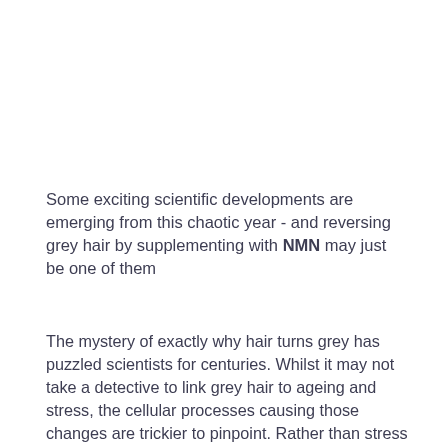Some exciting scientific developments are emerging from this chaotic year - and reversing grey hair by supplementing with NMN may just be one of them
The mystery of exactly why hair turns grey has puzzled scientists for centuries. Whilst it may not take a detective to link grey hair to ageing and stress, the cellular processes causing those changes are trickier to pinpoint. Rather than stress being a direct cause, the side effects of stress might be, according to